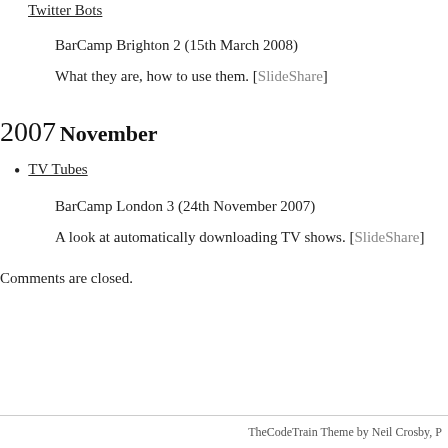Twitter Bots
BarCamp Brighton 2 (15th March 2008)
What they are, how to use them. [SlideShare]
2007
November
TV Tubes
BarCamp London 3 (24th November 2007)
A look at automatically downloading TV shows. [SlideShare]
Comments are closed.
TheCodeTrain Theme by Neil Crosby, P…